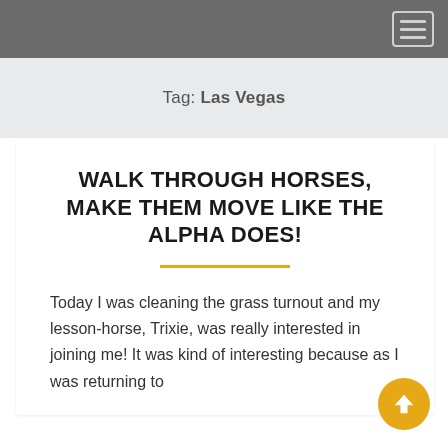[Navigation bar with hamburger menu button]
Tag: Las Vegas
WALK THROUGH HORSES, MAKE THEM MOVE LIKE THE ALPHA DOES!
Today I was cleaning the grass turnout and my lesson-horse, Trixie, was really interested in joining me! It was kind of interesting because as I was returning to